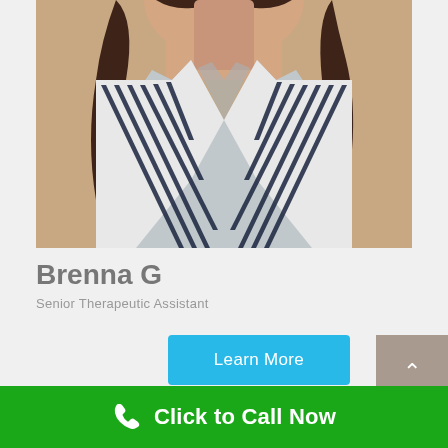[Figure (photo): Portrait photo of Brenna G, a woman with dark curly hair wearing a navy and white striped blazer over a gray top, photographed from shoulders up against a warm brick-toned background.]
Brenna G
Senior Therapeutic Assistant
Learn More
Click to Call Now